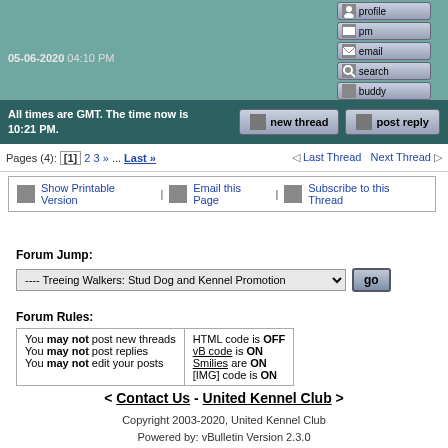05-06-2020 04:10 PM
[Figure (screenshot): Forum action buttons: profile, pm, email, search, buddy, edit, quote]
All times are GMT. The time now is 10:21 PM.
[Figure (screenshot): new thread and post reply buttons]
Pages (4): [1] 2 3 » ... Last »
Last Thread  Next Thread
Show Printable Version | Email this Page | Subscribe to this Thread
Forum Jump:
---- Treeing Walkers: Stud Dog and Kennel Promotion
Forum Rules:
| You may not post new threads
You may not post replies
You may not edit your posts | HTML code is OFF
vB code is ON
Smilies are ON
[IMG] code is ON |
< Contact Us - United Kennel Club >
Copyright 2003-2020, United Kennel Club
Powered by: vBulletin Version 2.3.0
(vBulletin courtesy Jelsoft Enterprises Limited.)